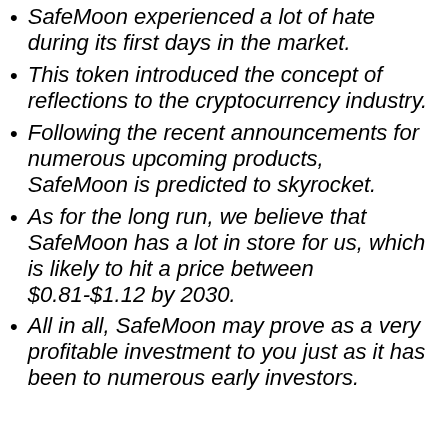SafeMoon experienced a lot of hate during its first days in the market.
This token introduced the concept of reflections to the cryptocurrency industry.
Following the recent announcements for numerous upcoming products, SafeMoon is predicted to skyrocket.
As for the long run, we believe that SafeMoon has a lot in store for us, which is likely to hit a price between $0.81-$1.12 by 2030.
All in all, SafeMoon may prove as a very profitable investment to you just as it has been to numerous early investors.